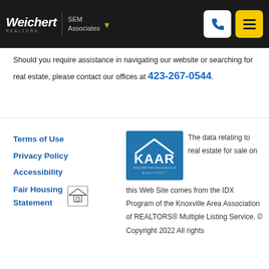Weichert REALTORS | SEM Associates
Should you require assistance in navigating our website or searching for real estate, please contact our offices at 423-267-0544.
Terms of Use
Privacy Policy
Accessibility
Fair Housing Statement
[Figure (logo): KAAR - Knoxville Area Association of REALTORS logo, blue square with white house outline and KAAR text]
The data relating to real estate for sale on this Web Site comes from the IDX Program of the Knoxville Area Association of REALTORS® Multiple Listing Service. © Copyright 2022 All rights